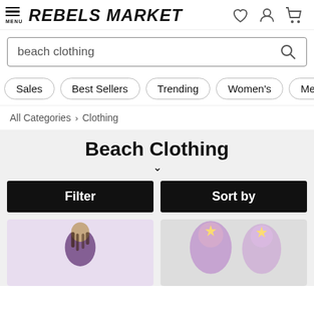REBELS MARKET
beach clothing
Sales
Best Sellers
Trending
Women's
Men's
All Categories > Clothing
Beach Clothing
Filter
Sort by
[Figure (photo): Man with dreadlocks wearing a dark purple t-shirt]
[Figure (photo): Two people with purple hair and colorful makeup in pastel fantasy costumes]